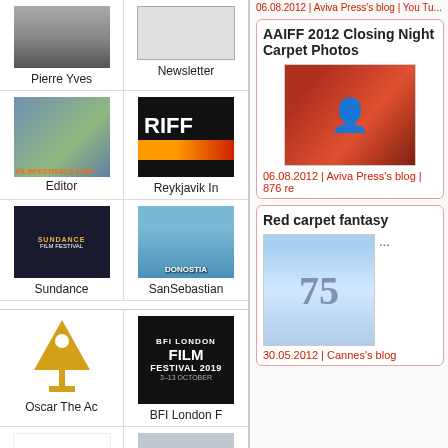[Figure (photo): Portrait photo of Pierre Yves]
Pierre Yves
[Figure (photo): Newsletter image]
Newsletter
[Figure (photo): Editor photo with filmfestivals.com logo overlay]
Editor
[Figure (logo): RIFF festival logo with orange stripe]
Reykjavik In
[Figure (photo): Sundance Film Festival sign]
Sundance
[Figure (photo): Donostia/San Sebastian festival sign by water]
SanSebastian
[Figure (logo): Oscar The Academy golden triangle logo]
Oscar The Ac
[Figure (logo): BFI London Film Festival 2019 logo]
BFI London F
[Figure (logo): International Film Festival locarno leopard logo]
[Figure (photo): Person with glasses portrait]
06.08.2012 | Aviva Press's blog | You Tu...
AAIFF 2012 Closing Night Carpet Photos
[Figure (photo): Man in red Hawaiian shirt at AAIFF 2012 closing night red carpet]
06.08.2012 | Aviva Press's blog | 876 re
Red carpet fantasy
...
[Figure (photo): Movie poster with number 75 and figure on blue sky]
30.05.2012 | Cannes's blog